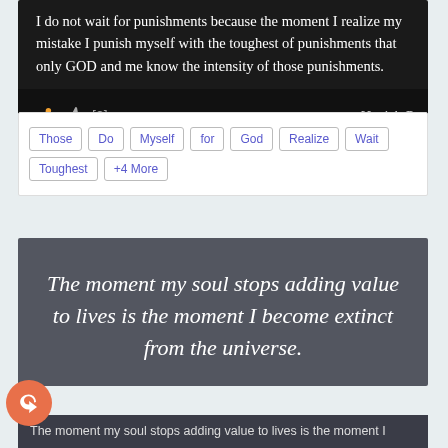I do not wait for punishments because the moment I realize my mistake I punish myself with the toughest of punishments that only GOD and me know the intensity of those punishments.
- Harish R
Those | Do | Myself | for | God | Realize | Wait | Toughest | +4 More
The moment my soul stops adding value to lives is the moment I become extinct from the universe.
The moment my soul stops adding value to lives is the moment I